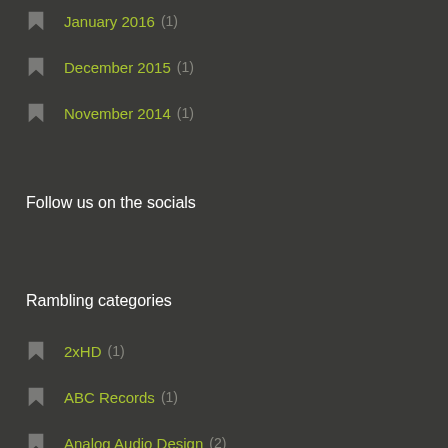January 2016 (1)
December 2015 (1)
November 2014 (1)
Follow us on the socials
Rambling categories
2xHD (1)
ABC Records (1)
Analog Audio Design (2)
Analogue Productions (7)